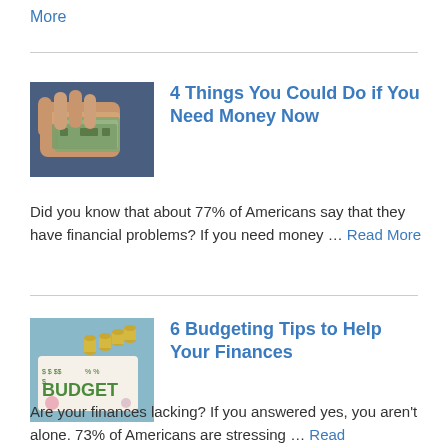Read More
[Figure (photo): Hands holding US dollar bills]
4 Things You Could Do if You Need Money Now
Did you know that about 77% of Americans say that they have financial problems? If you need money … Read More
[Figure (photo): Budget sign with coins stacked in background]
6 Budgeting Tips to Help Your Finances
Are your finances lacking? If you answered yes, you aren't alone. 73% of Americans are stressing … Read